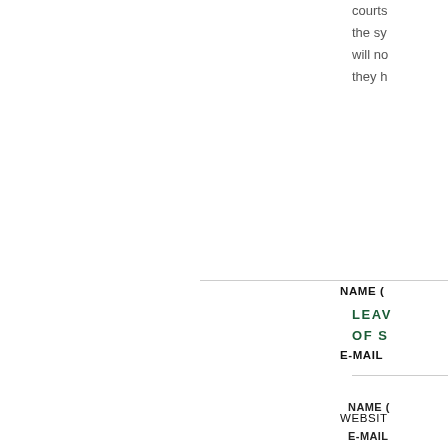courts the sy will no they h
LEAV OF S
NAME (
E-MAIL
WEBSITE
MESSA